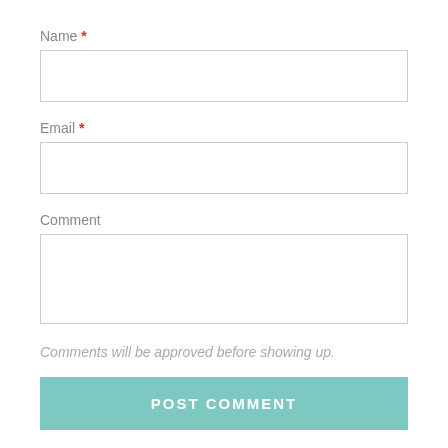Name *
[Figure (screenshot): Empty text input field for Name]
Email *
[Figure (screenshot): Empty text input field for Email]
Comment
[Figure (screenshot): Empty textarea input field for Comment]
Comments will be approved before showing up.
[Figure (screenshot): POST COMMENT button in teal/green color]